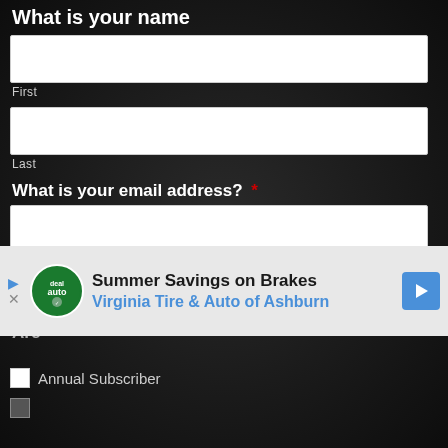What is your name
First
Last
What is your email address? *
Enter Email
Confirm Email
[Figure (screenshot): Advertisement banner: Summer Savings on Brakes - Virginia Tire & Auto of Ashburn]
Are
Annual Subscriber
Monthly Subscriber